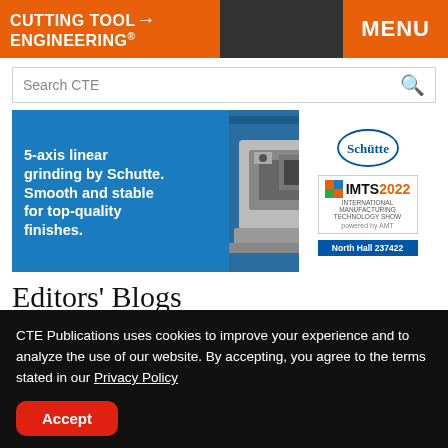CUTTING TOOL ENGINEERING
[Figure (illustration): Advertisement banner for Schutte 5-axis linear grinding machine at IMTS 2022, North Hall 237422. Blue background with machine photo, Schutte logo, IMTS 2022 logo.]
Editors' Blogs
CTE Publications uses cookies to improve your experience and to analyze the use of our website. By accepting, you agree to the terms stated in our Privacy Policy